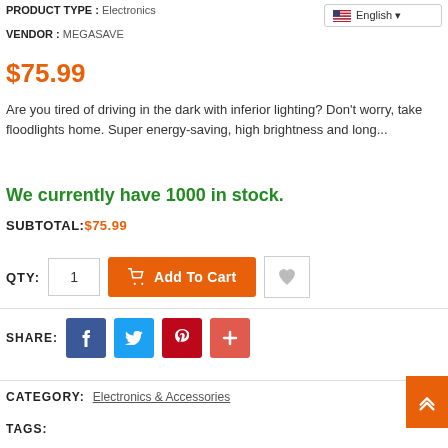PRODUCT TYPE : Electronics
VENDOR : MEGASAVE
$75.99
Are you tired of driving in the dark with inferior lighting? Don't worry, take floodlights home. Super energy-saving, high brightness and long...
We currently have 1000 in stock.
SUBTOTAL:$75.99
QTY: 1  Add To Cart
SHARE:
CATEGORY: Electronics & Accessories
TAGS: